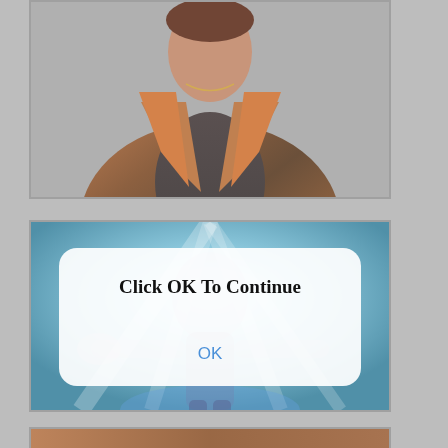[Figure (photo): Partially visible top image showing a person wearing a brown/orange jacket and grey top, cropped at chest/head level against a grey border.]
[Figure (screenshot): Animated/rendered scene with a blue glowing background showing a figure with arms outstretched, with a modal dialog overlay reading 'Click OK To Continue' and an OK button.]
[Figure (photo): Partially visible bottom image, just the top edge visible, showing a warm-toned scene.]